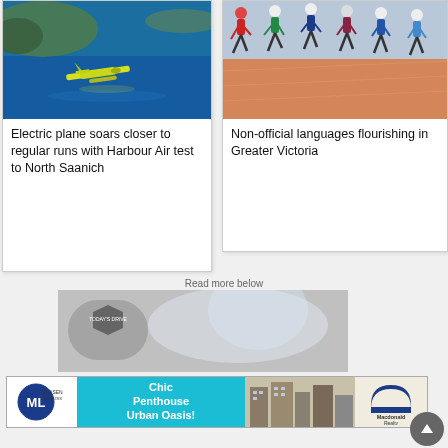[Figure (photo): Aerial view of a yellow electric seaplane flying over blue water near a rocky coastline]
Electric plane soars closer to regular runs with Harbour Air test to North Saanich
[Figure (photo): Group of young male runners sprinting on an indoor track at the start of a race]
Non-official languages flourishing in Greater Victoria
Read more below
[Figure (photo): Today's Drive advertisement banner]
[Figure (photo): Advertisement for Chic Penthouse Urban Oasis by Madsen Langlois and Macdonald Realty]